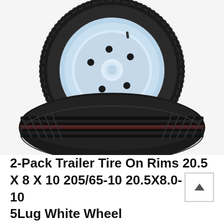[Figure (photo): Two black trailer tires on white rims. The rear tire shows a light blue/white steel wheel with 5 lug holes and a diagonal spoke. The front tire is shown face-on displaying a ribbed tread pattern with lateral grooves. Both tires are stacked/overlapping diagonally.]
2-Pack Trailer Tire On Rims 20.5 X 8 X 10 205/65-10 20.5X8.0-10 5Lug White Wheel